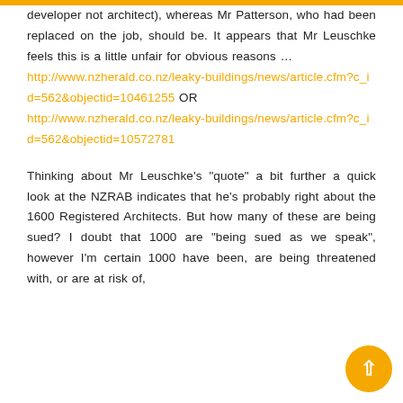developer not architect), whereas Mr Patterson, who had been replaced on the job, should be. It appears that Mr Leuschke feels this is a little unfair for obvious reasons ... http://www.nzherald.co.nz/leaky-buildings/news/article.cfm?c_id=562&objectid=10461255 OR http://www.nzherald.co.nz/leaky-buildings/news/article.cfm?c_id=562&objectid=10572781
Thinking about Mr Leuschke's "quote" a bit further a quick look at the NZRAB indicates that he's probably right about the 1600 Registered Architects. But how many of these are being sued? I doubt that 1000 are "being sued as we speak", however I'm certain 1000 have been, are being threatened with, or are at risk of,